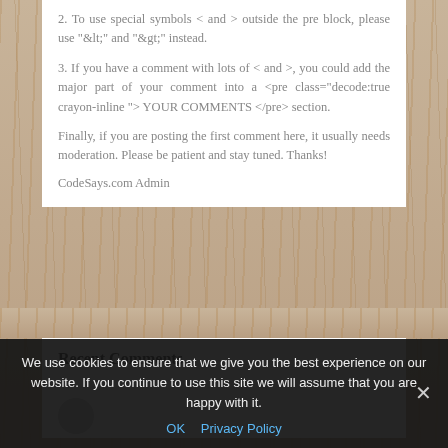2. To use special symbols < and > outside the pre block, please use "&lt;" and "&gt;" instead.
3. If you have a comment with lots of < and >, you could add the major part of your comment into a <pre class="decode:true crayon-inline "> YOUR COMMENTS </pre> section.
Finally, if you are posting the first comment here, it usually needs moderation. Please be patient and stay tuned. Thanks!
CodeSays.com Admin
Recent Comments
We use cookies to ensure that we give you the best experience on our website. If you continue to use this site we will assume that you are happy with it.
OK   Privacy Policy